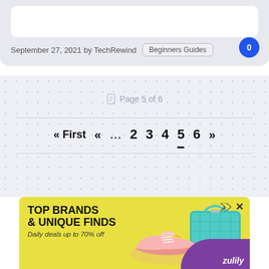September 27, 2021 by TechRewind  Beginners Guides
Page 5 of 6
« First  «  …  2  3  4  5  6  »
[Figure (screenshot): Advertisement banner for Zulily: TOP BRANDS & UNIQUE FINDS. Daily deals up to 70% off. Yellow background with shoe and handbag images and purple Zulily logo.]